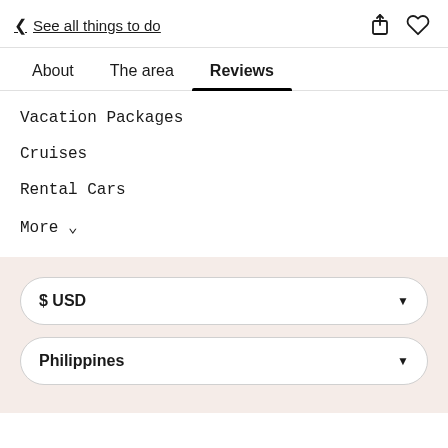< See all things to do
About  The area  Reviews
Vacation Packages
Cruises
Rental Cars
More ∨
$ USD
Philippines